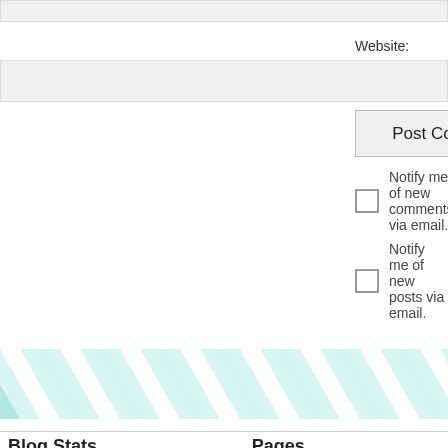Website:
Post Comment
Notify me of new comments via email.
Notify me of new posts via email.
[Figure (illustration): Teal/mint chevron zigzag decorative banner pattern]
Blog Stats
364,941 hits
Pages
1001 Boo...
2015 Boo...
2018 She...
About
Book Ma...
Book Rev...